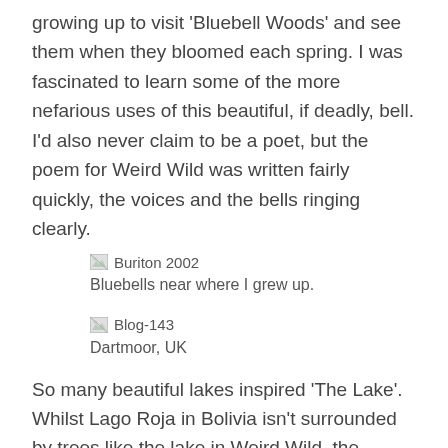growing up to visit 'Bluebell Woods' and see them when they bloomed each spring. I was fascinated to learn some of the more nefarious uses of this beautiful, if deadly, bell. I'd also never claim to be a poet, but the poem for Weird Wild was written fairly quickly, the voices and the bells ringing clearly.
[Figure (photo): Broken image placeholder labeled 'Buriton 2002']
Bluebells near where I grew up.
[Figure (photo): Broken image placeholder labeled 'Blog-143']
Dartmoor, UK
So many beautiful lakes inspired 'The Lake'. Whilst Lago Roja in Bolivia isn't surrounded by trees like the lake in Weird Wild, the stillness and sense of isolation crept